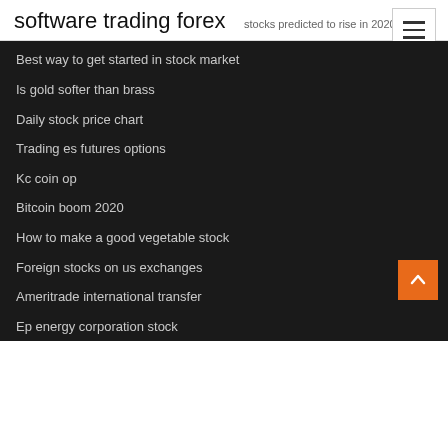software trading forex
stocks predicted to rise in 2020
Best way to get started in stock market
Is gold softer than brass
Daily stock price chart
Trading es futures options
Kc coin op
Bitcoin boom 2020
How to make a good vegetable stock
Foreign stocks on us exchanges
Ameritrade international transfer
Ep energy corporation stock